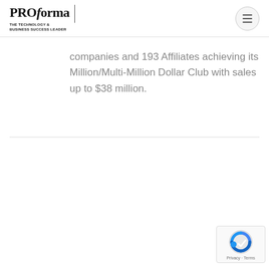PROforma | THE TECHNOLOGY & BUSINESS SUCCESS LEADER
companies and 193 Affiliates achieving its Million/Multi-Million Dollar Club with sales up to $38 million.
[Figure (logo): reCAPTCHA badge with Privacy and Terms links]